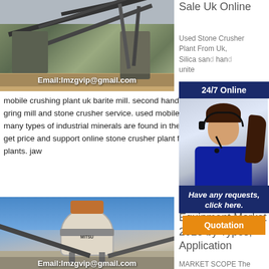[Figure (photo): Industrial stone crushing plant with conveyor belts and machinery, with email overlay text]
Email:lmzgvip@gmail.com
Sale Uk Online
Used Stone Crusher Plant From Uk, Silica sand... hand... unite... mobile crushing plant uk barite mill. second hand gring mill and stone crusher service. used mobile many types of industrial minerals are found in the get price and support online stone crusher plant f... plants. jaw
[Figure (photo): Customer service representative with headset - 24/7 Online chat widget with 'Have any requests, click here.' and Quotation button]
[Figure (photo): Stone crushing equipment / cone crusher with conveyor belt and blue sky background, with email overlay]
Email:lmzgvip@gmail.com
Stone Crushing Equipment Market 2028 by Types, Application
MARKET SCOPE The "Global Stone ...